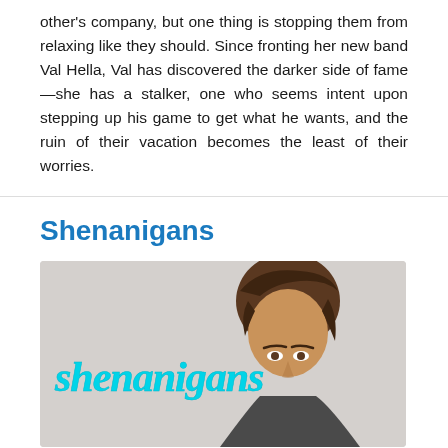other's company, but one thing is stopping them from relaxing like they should. Since fronting her new band Val Hella, Val has discovered the darker side of fame—she has a stalker, one who seems intent upon stepping up his game to get what he wants, and the ruin of their vacation becomes the least of their worries.
Shenanigans
[Figure (illustration): Book cover for 'Shenanigans' showing a young man with dark swept-back hair against a light grey background. The word 'shenanigans' is written in large turquoise/cyan cursive script overlaid across the cover.]